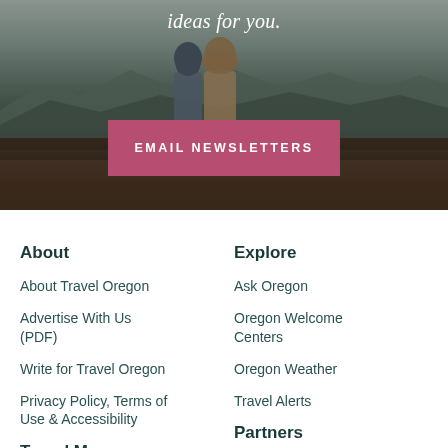[Figure (photo): Two people seen from behind sitting in a field looking toward mountains at dusk, dark moody landscape background]
ideas for you.
EMAIL NEWSLETTERS
About
About Travel Oregon
Advertise With Us (PDF)
Write for Travel Oregon
Privacy Policy, Terms of Use & Accessibility
Explore
Ask Oregon
Oregon Welcome Centers
Oregon Weather
Travel Alerts
Partners
Travel Marketing...